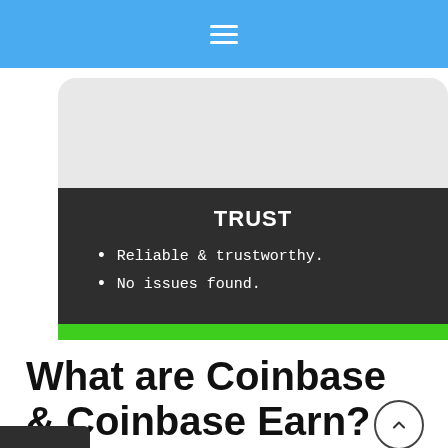☰
[Figure (screenshot): A card UI element with a light gray rounded top section and a dark charcoal lower section displaying 'TRUST' in bold white text. Below the heading are two bullet points: 'Reliable & trustworthy.' and 'No issues found.' A green bar runs along the bottom of the card.]
What are Coinbase & Coinbase Earn?